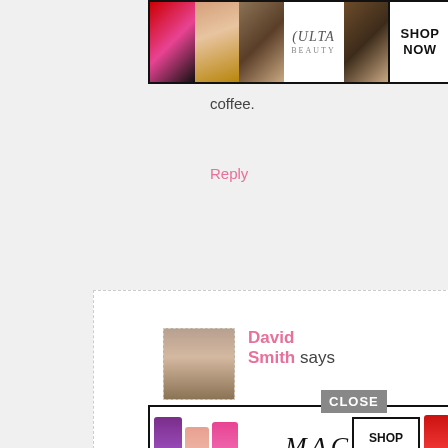[Figure (advertisement): Ulta Beauty shop now ad banner with makeup images (lips, brush, eye, logo, smokey eye) and Shop Now button]
coffee.
Reply
David Smith says
July 15, 2014 at 6:02 pm
[Figure (advertisement): MAC cosmetics shop now ad banner with lipsticks in purple, peach, pink, red colors and Shop Now button]